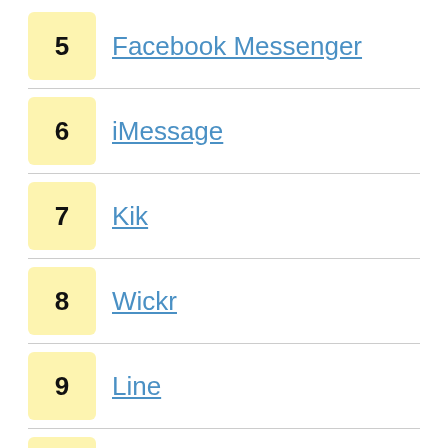5 Facebook Messenger
6 iMessage
7 Kik
8 Wickr
9 Line
10 Signal
Windows messengers Business chat software Enterprise Business messengers WhatsApp Marketing Secure WhatsApp iOS Work Fring Nimbuzz Video Messaging BBM Yahoo Messenger